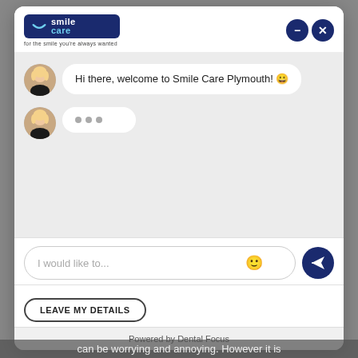[Figure (screenshot): Smile Care dental clinic chat widget. Header shows Smile Care logo with tagline 'for the smile you're always wanted' and two control buttons (minimize and close). Chat area shows a female avatar with message bubble 'Hi there, welcome to Smile Care Plymouth! 😊' and a second avatar with typing indicator dots. Input field reads 'I would like to...' with emoji icon and send button. Below is a 'LEAVE MY DETAILS' button. Footer reads 'Powered by Dental Focus'.]
Hi there, welcome to Smile Care Plymouth! 😊
I would like to...
LEAVE MY DETAILS
Powered by Dental Focus
can be worrying and annoying. However it is